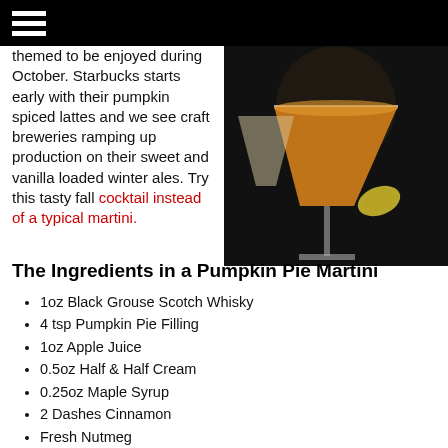themed to be enjoyed during October. Starbucks starts early with their pumpkin spiced lattes and we see craft breweries ramping up production on their sweet and vanilla loaded winter ales. Try this tasty fall cocktail instead of a typical martini.
[Figure (photo): A martini glass filled with an orange/amber liquid, garnished with a yellow/green citrus twist, on a dark background.]
The Ingredients in a Pumpkin Pie Martini
1oz Black Grouse Scotch Whisky
4 tsp Pumpkin Pie Filling
1oz Apple Juice
0.5oz Half & Half Cream
0.25oz Maple Syrup
2 Dashes Cinnamon
Fresh Nutmeg